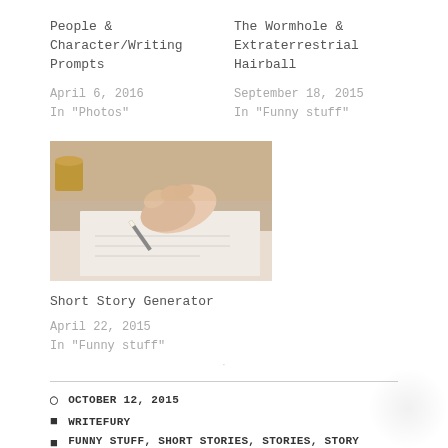People & Character/Writing Prompts
April 6, 2016
In "Photos"
The Wormhole & Extraterrestrial Hairball
September 18, 2015
In "Funny stuff"
[Figure (photo): A hand holding a pen writing on paper, close-up shot with warm tones]
Short Story Generator
April 22, 2015
In "Funny stuff"
OCTOBER 12, 2015
WRITEFURY
FUNNY STUFF, SHORT STORIES, STORIES, STORY